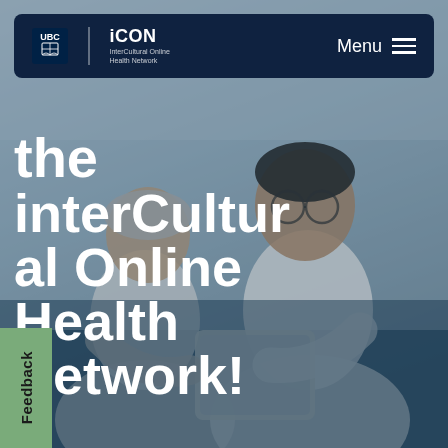[Figure (screenshot): Screenshot of the iCON (InterCultural Online Health Network) website homepage showing two elderly Asian people smiling and looking at a tablet, with a dark navy navigation bar at the top containing UBC and iCON logos and a Menu button, overlaid with large white bold text reading 'the interCultural Online Health Network!' and a green Feedback tab on the bottom left]
iCON InterCultural Online Health Network — Menu
the interCultural Online Health Network!
Feedback